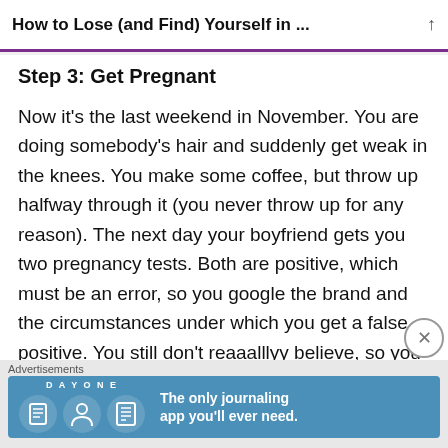How to Lose (and Find) Yourself in …
Step 3: Get Pregnant
Now it's the last weekend in November. You are doing somebody's hair and suddenly get weak in the knees. You make some coffee, but throw up halfway through it (you never throw up for any reason). The next day your boyfriend gets you two pregnancy tests. Both are positive, which must be an error, so you google the brand and the circumstances under which you get a false positive. You still don't reaaalllyy believe, so you
Advertisements
[Figure (screenshot): Day One journaling app advertisement banner: blue background with DAY ONE logo, three icons (book, person, notepad), and text 'The only journaling app you'll ever need.']